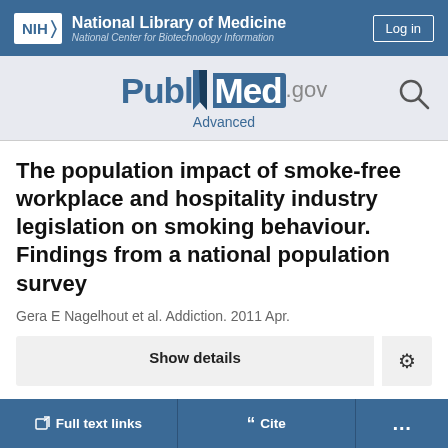NIH National Library of Medicine National Center for Biotechnology Information
[Figure (logo): PubMed.gov logo with search icon and Advanced link]
The population impact of smoke-free workplace and hospitality industry legislation on smoking behaviour. Findings from a national population survey
Gera E Nagelhout et al. Addiction. 2011 Apr.
Show details
Full text links Cite ...